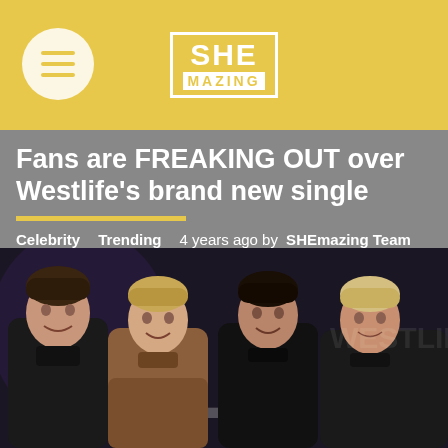SHEmazing
Fans are FREAKING OUT over Westlife's brand new single
Celebrity   Trending   4 years ago by SHEmazing Team
[Figure (photo): Photo of four men (Westlife members) posing together in front of a branded backdrop, wearing dark casual jackets]